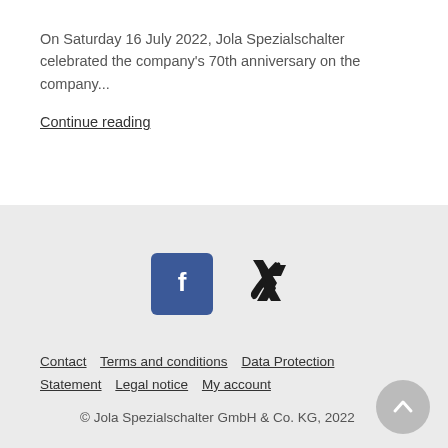On Saturday 16 July 2022, Jola Spezialschalter celebrated the company's 70th anniversary on the company...
Continue reading
[Figure (logo): Facebook icon (blue square with white f) and Xing icon (dark X shape) social media logos]
Contact   Terms and conditions   Data Protection Statement   Legal notice   My account
© Jola Spezialschalter GmbH & Co. KG, 2022